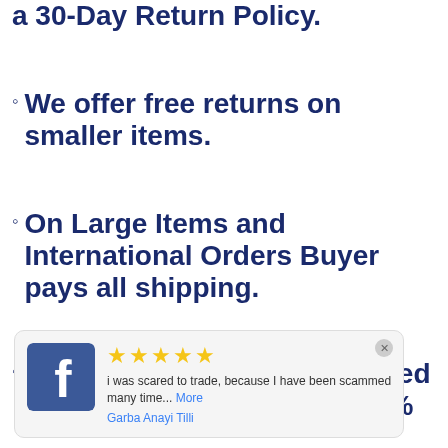a 30-Day Return Policy.
We offer free returns on smaller items.
On Large Items and International Orders Buyer pays all shipping.
If an item is returned damaged Buyer will only receive a 50%
[Figure (other): Facebook review overlay widget showing 5 gold stars, review text 'i was scared to trade, because I have been scammed many time... More', reviewer name 'Garba Anayi Tilli', with Facebook logo icon and close button]